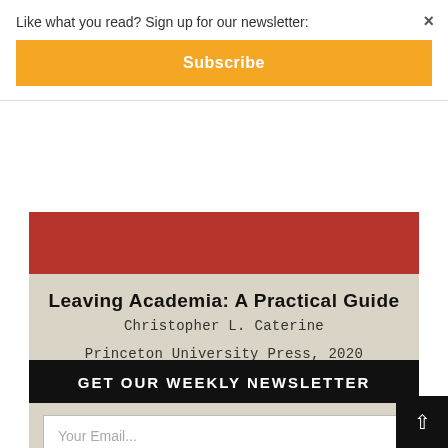Like what you read? Sign up for our newsletter:
Subscribe
×
Leaving Academia: A Practical Guide
Christopher L. Caterine
Princeton University Press, 2020
BUY
GET OUR WEEKLY NEWSLETTER
Your Email...
SIGN UP